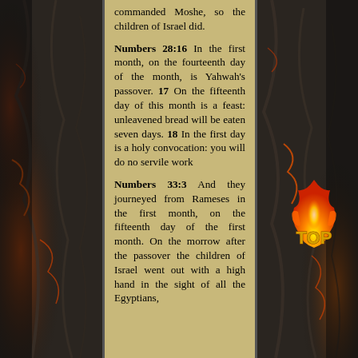According to all Yahwah commanded Moshe, so the children of Israel did.
Numbers 28:16 In the first month, on the fourteenth day of the month, is Yahwah's passover. 17 On the fifteenth day of this month is a feast: unleavened bread will be eaten seven days. 18 In the first day is a holy convocation: you will do no servile work
Numbers 33:3 And they journeyed from Rameses in the first month, on the fifteenth day of the first month. On the morrow after the passover the children of Israel went out with a high hand in the sight of all the Egyptians,
[Figure (illustration): Flame graphic with 'TOP' text in gold/yellow letters, fire badge icon]